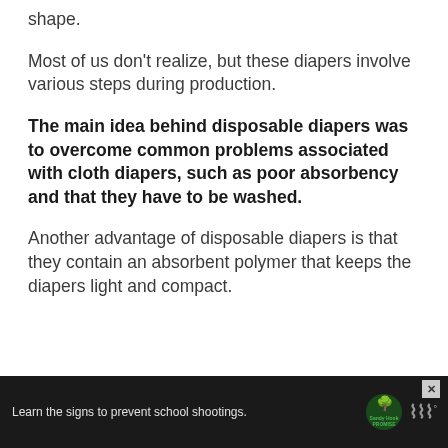shape.
Most of us don’t realize, but these diapers involve various steps during production.
The main idea behind disposable diapers was to overcome common problems associated with cloth diapers, such as poor absorbency and that they have to be washed.
Another advantage of disposable diapers is that they contain an absorbent polymer that keeps the diapers light and compact.
Learn the signs to prevent school shootings. Sandy Hook Promise